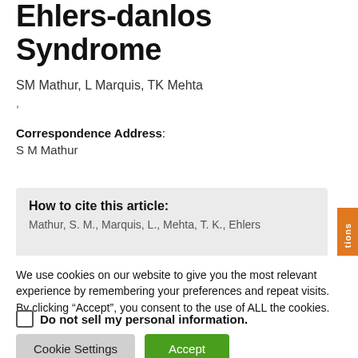Ehlers-danlos Syndrome
SM Mathur, L Marquis, TK Mehta
,
Correspondence Address: S M Mathur
How to cite this article:
Mathur, S. M., Marquis, L., Mehta, T. K., Ehlers...
We use cookies on our website to give you the most relevant experience by remembering your preferences and repeat visits. By clicking “Accept”, you consent to the use of ALL the cookies.
Do not sell my personal information.